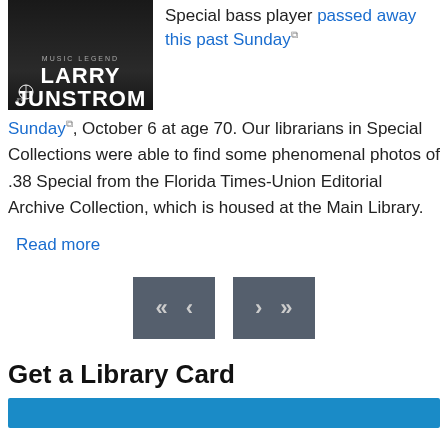[Figure (photo): Black and white book or album cover featuring the name LARRY JUNSTROM in large white letters with Jacksonville Public Library logo]
Special bass player passed away this past Sunday, October 6 at age 70. Our librarians in Special Collections were able to find some phenomenal photos of .38 Special from the Florida Times-Union Editorial Archive Collection, which is housed at the Main Library.
Read more
[Figure (other): Navigation pagination buttons: double-left arrow, left arrow, right arrow, double-right arrow]
Get a Library Card
[Figure (photo): Blue bar/banner, partial image at the bottom of the page]